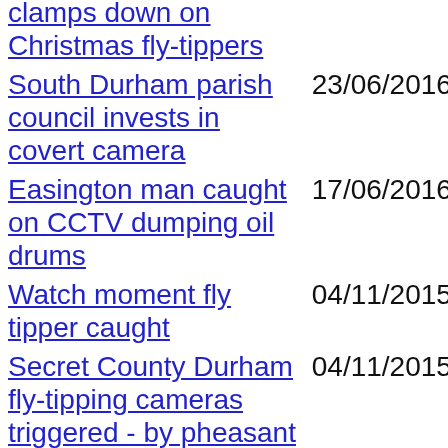clamps down on Christmas fly-tippers
South Durham parish council invests in covert camera
Easington man caught on CCTV dumping oil drums
Watch moment fly tipper caught
Secret County Durham fly-tipping cameras triggered - by pheasant
CCTV under consideration in